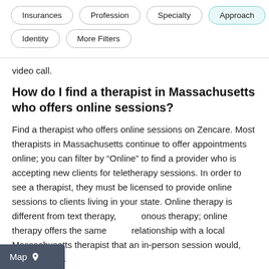Insurances | Profession | Specialty | Approach | Identity | More Filters
video call.
How do I find a therapist in Massachusetts who offers online sessions?
Find a therapist who offers online sessions on Zencare. Most therapists in Massachusetts continue to offer appointments online; you can filter by “Online” to find a provider who is accepting new clients for teletherapy sessions. In order to see a therapist, they must be licensed to provide online sessions to clients living in your state. Online therapy is different from text therapy, asynchronous therapy; online therapy offers the same relationship with a local Massachusetts therapist that an in-person session would, with sessions